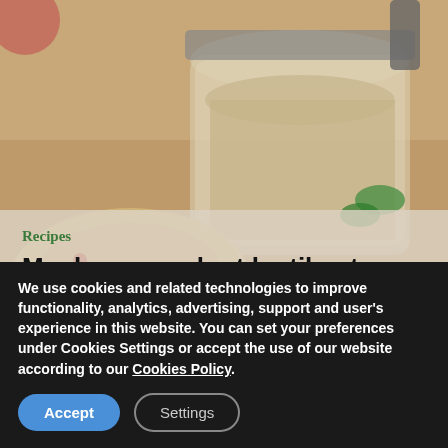[Figure (photo): Close-up food photo of mushroom walnut lentil pate in a glass jar with bread slices on a wooden surface]
Recipes
Mushroom walnut lentil pate
This simple, delicious, and nutritious MUSHROOM WALNUT LENTIL PATÉ is a
We use cookies and related technologies to improve functionality, analytics, advertising, support and user's experience in this website. You can set your preferences under Cookies Settings or accept the use of our website according to our Cookies Policy.
Accept
Settings